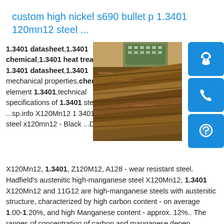custom high nickel s690 bullet p 1.3401 120mn12 steel ...
1.3401 datasheet,1.3401 chemical,1.3401 heat treatment. 1.3401 datasheet,1.3401 mechanical properties,chemical element 1.3401,technical specifications of 1.3401 steel ...sp.info X120Mn12 1 3401 Hadfield steel x120mn12 - Black ...Description X120Mn12, 1.3401, Z120M12, A128 - wear resistant steel. Hadfield's austenitic high-manganese steel X120Mn12, 1.3401 X120Mn12 and 11G12 are high-manganese steels with austenitic structure, characterized by high carbon content - on average 1.00-1.20%, and high Manganese content - approx. 12%.. The ranges of concentration of carbon and manganese depen ...sp.info 1 3401 steel-KPT trade - Shipbuilding Steel Plate-SPHUF 3401
[Figure (photo): Photo of stacked steel plates/bars showing rust and dark oxidized metal surfaces, with a green industrial building visible in background.]
[Figure (infographic): Blue button icons: customer service headset icon, phone icon, Skype icon]